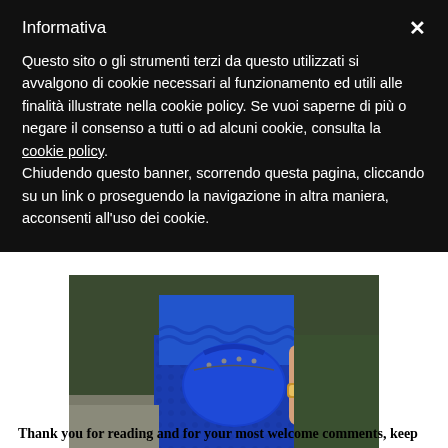Informativa
Questo sito o gli strumenti terzi da questo utilizzati si avvalgono di cookie necessari al funzionamento ed utili alle finalità illustrate nella cookie policy. Se vuoi saperne di più o negare il consenso a tutti o ad alcuni cookie, consulta la cookie policy. Chiudendo questo banner, scorrendo questa pagina, cliccando su un link o proseguendo la navigazione in altra maniera, acconsenti all'uso dei cookie.
[Figure (photo): Fashion photo showing a woman in blue ruffled top and patterned blue trousers holding a royal blue Balenciaga handbag, wearing a gold watch and ring]
Thank you for reading and for your most welcome comments, keep